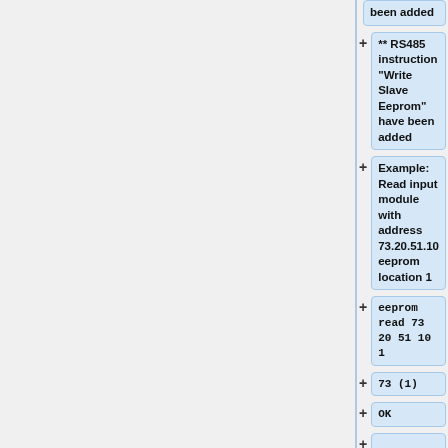been added
** RS485 instruction "Write Slave Eeprom" have been added
Example: Read input module with address 73.20.51.10 eeprom location 1
eeprom read 73 20 51 10 1
73 (1)
OK
== V1.0.119 ==